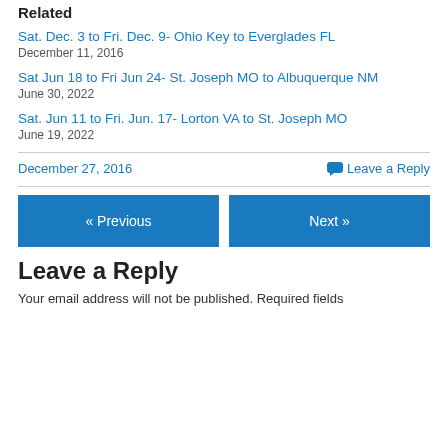Related
Sat. Dec. 3 to Fri. Dec. 9- Ohio Key to Everglades FL
December 11, 2016
Sat Jun 18 to Fri Jun 24- St. Joseph MO to Albuquerque NM
June 30, 2022
Sat. Jun 11 to Fri. Jun. 17- Lorton VA to St. Joseph MO
June 19, 2022
December 27, 2016
Leave a Reply
« Previous
Next »
Leave a Reply
Your email address will not be published. Required fields